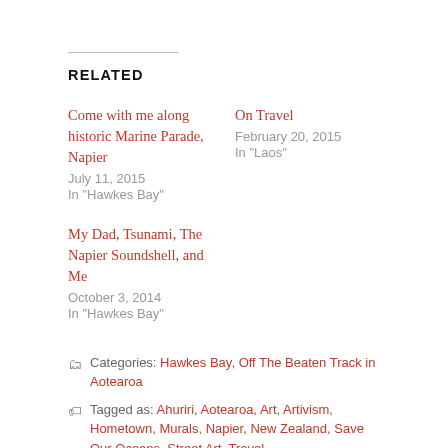RELATED
Come with me along historic Marine Parade, Napier
July 11, 2015
In "Hawkes Bay"
On Travel
February 20, 2015
In "Laos"
My Dad, Tsunami, The Napier Soundshell, and Me
October 3, 2014
In "Hawkes Bay"
Categories: Hawkes Bay, Off The Beaten Track in Aotearoa
Tagged as: Ahuriri, Aotearoa, Art, Artivism, Hometown, Murals, Napier, New Zealand, Save Our Oceans, Street Art, Travel